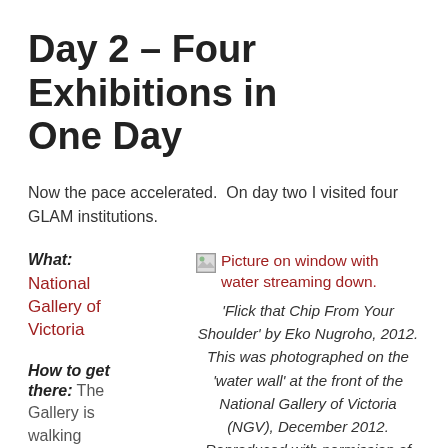Day 2 – Four Exhibitions in One Day
Now the pace accelerated.  On day two I visited four GLAM institutions.
What: National Gallery of Victoria
[Figure (photo): Broken image placeholder with link text: 'Picture on window with water streaming down.']
'Flick that Chip From Your Shoulder' by Eko Nugroho, 2012. This was photographed on the 'water wall' at the front of the National Gallery of Victoria (NGV), December 2012. Reproduced with permission of the NGV
How to get there: The Gallery is walking distance